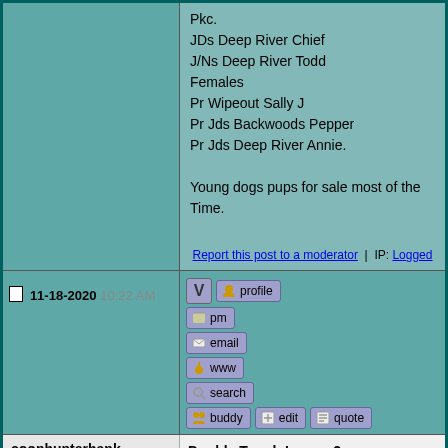Pkc.
JDs Deep River Chief
J/Ns Deep River Todd
Females
Pr Wipeout Sally J
Pr Jds Backwoods Pepper
Pr Jds Deep River Annie.

Young dogs pups for sale most of the
Time.
Report this post to a moderator | IP: Logged
11-18-2020 10:22 AM
profile pm email www search buddy edit quote
coonhunterhank
UKC Forum Member

Registered: Mar 2006
Location: summersvillemissouri
Posts: 1279
Double Tough Lawyer2

Lawyer2 not only is Coondog but he is reproducer
Lawyer2 pups are loud easey on eyes naturals.
Don't over look Lawyer2 he right kind.